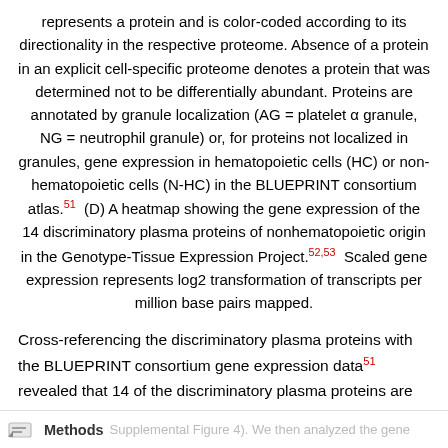represents a protein and is color-coded according to its directionality in the respective proteome. Absence of a protein in an explicit cell-specific proteome denotes a protein that was determined not to be differentially abundant. Proteins are annotated by granule localization (AG = platelet α granule, NG = neutrophil granule) or, for proteins not localized in granules, gene expression in hematopoietic cells (HC) or non-hematopoietic cells (N-HC) in the BLUEPRINT consortium atlas.51 (D) A heatmap showing the gene expression of the 14 discriminatory plasma proteins of nonhematopoietic origin in the Genotype-Tissue Expression Project.52,53 Scaled gene expression represents log2 transformation of transcripts per million base pairs mapped.
Cross-referencing the discriminatory plasma proteins with the BLUEPRINT consortium gene expression data51 revealed that 14 of the discriminatory plasma proteins are not known to be expressed in hematopoietic cells (Figure Supplemental Figure 4). We then analyzed the gene